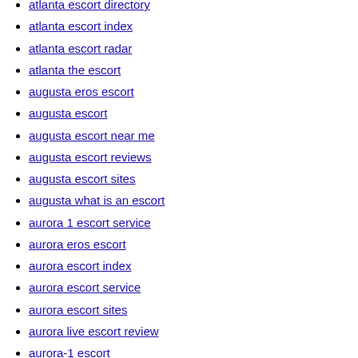atlanta escort directory
atlanta escort index
atlanta escort radar
atlanta the escort
augusta eros escort
augusta escort
augusta escort near me
augusta escort reviews
augusta escort sites
augusta what is an escort
aurora 1 escort service
aurora eros escort
aurora escort index
aurora escort service
aurora escort sites
aurora live escort review
aurora-1 escort
aurora-1 escort near me
aurora-1 escort service
aurora-1 escort services
aurora-1 escort sites
aurora-dating reviews
austin backpage escort
austin eros escort